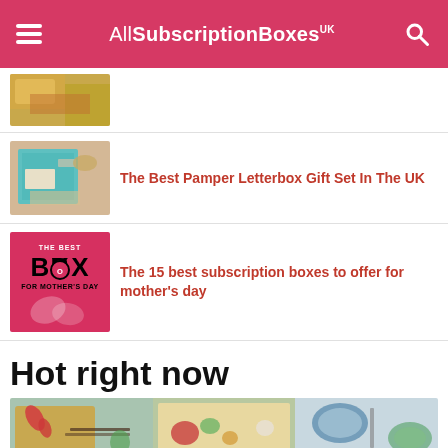AllSubscriptionBoxes UK
[Figure (photo): Partially visible food/snack photo (top of page, cropped)]
[Figure (photo): Pamper letterbox gift set with teal/blue box and items on gold/glitter paper]
The Best Pamper Letterbox Gift Set In The UK
[Figure (photo): Red background with text: THE BEST BOX FOR MOTHER'S DAY]
The 15 best subscription boxes to offer for mother's day
Hot right now
[Figure (photo): Food collage showing various meal-kit ingredients on a light blue background]
[Figure (logo): Verlue logo: green italic script text with tagline 'Less Waste. Less Guilt.']